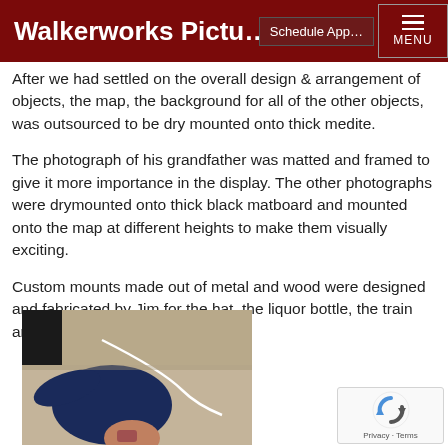Walkerworks Pictu…   Schedule App…   MENU
After we had settled on the overall design & arrangement of objects, the map, the background for all of the other objects, was outsourced to be dry mounted onto thick medite.
The photograph of his grandfather was matted and framed to give it more importance in the display. The other photographs were drymounted onto thick black matboard and mounted onto the map at different heights to make them visually exciting.
Custom mounts made out of metal and wood were designed and fabricated by Jim for the hat, the liquor bottle, the train and the gun.
[Figure (photo): Person in dark clothing working on or attaching something to a large board or panel, photographed from above/side angle in a workshop setting.]